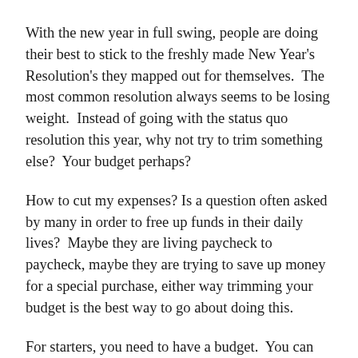With the new year in full swing, people are doing their best to stick to the freshly made New Year’s Resolution’s they mapped out for themselves.  The most common resolution always seems to be losing weight.  Instead of going with the status quo resolution this year, why not try to trim something else?  Your budget perhaps?
How to cut my expenses? Is a question often asked by many in order to free up funds in their daily lives?  Maybe they are living paycheck to paycheck, maybe they are trying to save up money for a special purchase, either way trimming your budget is the best way to go about doing this.
For starters, you need to have a budget.  You can download a free budget template and simply put in your